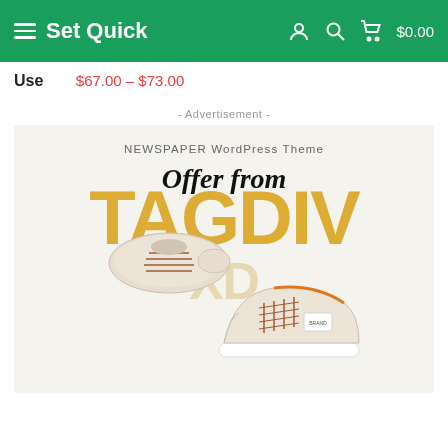Set Quick  $0.00
Use
$67.00 – $73.00
- Advertisement -
[Figure (illustration): Advertisement banner for NEWSPAPER WordPress Theme by tagDiv. Shows 'Offer from' text in italic over large golden 'TAGDIV' letters, with two beige suede sneakers (one seen from the side, one from above) displayed prominently.]